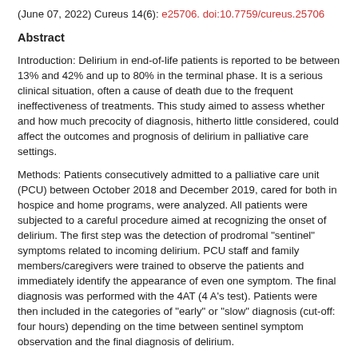(June 07, 2022) Cureus 14(6): e25706. doi:10.7759/cureus.25706
Abstract
Introduction: Delirium in end-of-life patients is reported to be between 13% and 42% and up to 80% in the terminal phase. It is a serious clinical situation, often a cause of death due to the frequent ineffectiveness of treatments. This study aimed to assess whether and how much precocity of diagnosis, hitherto little considered, could affect the outcomes and prognosis of delirium in palliative care settings.
Methods: Patients consecutively admitted to a palliative care unit (PCU) between October 2018 and December 2019, cared for both in hospice and home programs, were analyzed. All patients were subjected to a careful procedure aimed at recognizing the onset of delirium. The first step was the detection of prodromal "sentinel" symptoms related to incoming delirium. PCU staff and family members/caregivers were trained to observe the patients and immediately identify the appearance of even one symptom. The final diagnosis was performed with the 4AT (4 A's test). Patients were then included in the categories of "early" or "slow" diagnosis (cut-off: four hours) depending on the time between sentinel symptom observation and the final diagnosis of delirium.
Results: Among 503 admitted patients, 95 developed delirium. Confusion was